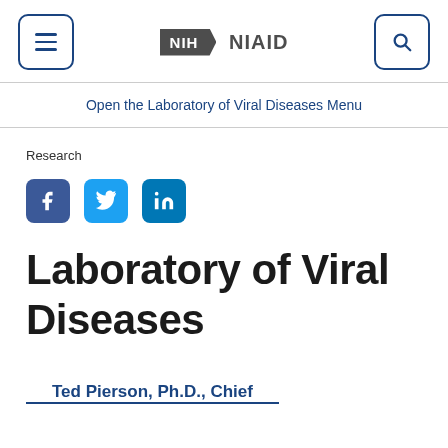NIH NIAID
Open the Laboratory of Viral Diseases Menu
Research
[Figure (other): Social media icons: Facebook, Twitter, LinkedIn]
Laboratory of Viral Diseases
Ted Pierson, Ph.D., Chief